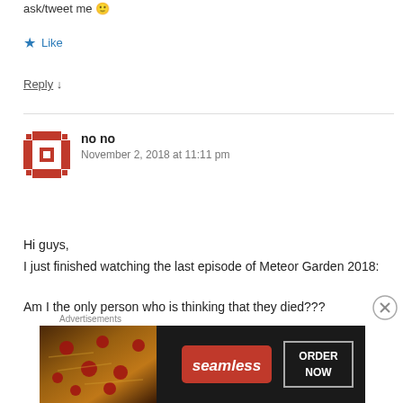ask/tweet me 🙂
★ Like
Reply ↓
no no
November 2, 2018 at 11:11 pm
Hi guys,
I just finished watching the last episode of Meteor Garden 2018:

Am I the only person who is thinking that they died???
Advertisements